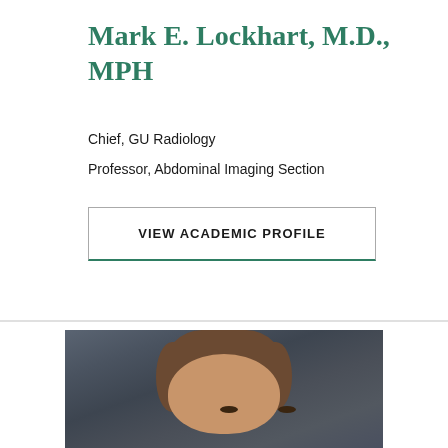Mark E. Lockhart, M.D., MPH
Chief, GU Radiology
Professor, Abdominal Imaging Section
VIEW ACADEMIC PROFILE
[Figure (photo): Professional headshot photograph of a person with short brown hair against a dark grey background, cropped to show the face and top of head.]